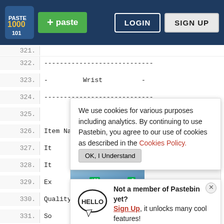Pastebin header with logo, + paste button, LOGIN, SIGN UP
321. (partial line top)
322. ----------------------------
323. -         Wrist          -
324. ----------------------------
325. (blank)
326. Item Name : Dragonscale Bracelet
327. It  (cookie notice overlapping)
328. It  (cookie notice overlapping)
329. Ex  (cookie notice overlapping)
330. Quality   : 100 %
331. So (sign up popup)
332. It (sign up popup)
333. (T
[Figure (screenshot): Cookie consent notice overlay: 'We use cookies for various purposes including analytics. By continuing to use Pastebin, you agree to our use of cookies as described in the Cookies Policy. OK, I Understand button']
[Figure (screenshot): Sign up popup: Hello speech bubble icon, 'Not a member of Pastebin yet? Sign Up, it unlocks many cool features!' with close X button]
[Figure (screenshot): Ad banner: Hold and Move game ad, Rollic app icon, 'They Are Coming!', Download link]